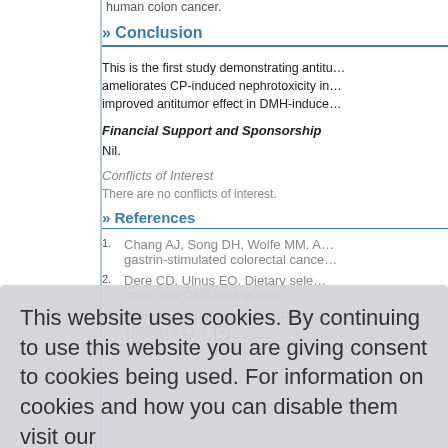human colon cancer.
» Conclusion
This is the first study demonstrating antitu… ameliorates CP-induced nephrotoxicity in… improved antitumor effect in DMH-induce…
Financial Support and Sponsorship
Nil.
Conflicts of Interest
There are no conflicts of interest.
» References
1. Chang AJ, Song DH, Wolfe MM. A… gastrin-stimulated colorectal cance…
2. Dere CD, Ulnus EO. Dietary sele… colon and DNA methylation i…
3. Campbell PI, al-Nasser IA. Renal… 1996:114:11-7.
This website uses cookies. By continuing to use this website you are giving consent to cookies being used. For information on cookies and how you can disable them visit our
Privacy and Cookie Policy.
AGREE & PROCEED